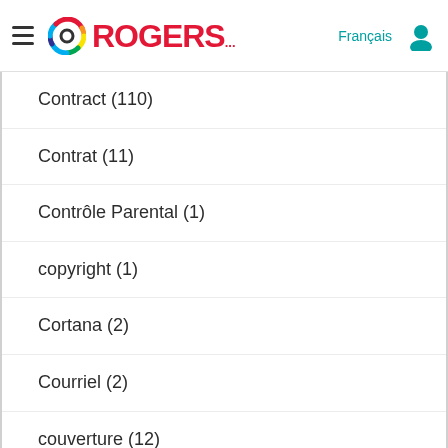ROGERS — Français
Contract (110)
Contrat (11)
Contrôle Parental (1)
copyright (1)
Cortana (2)
Courriel (2)
couverture (12)
Coverage (270)
Crave (3)
CraveTV (3)